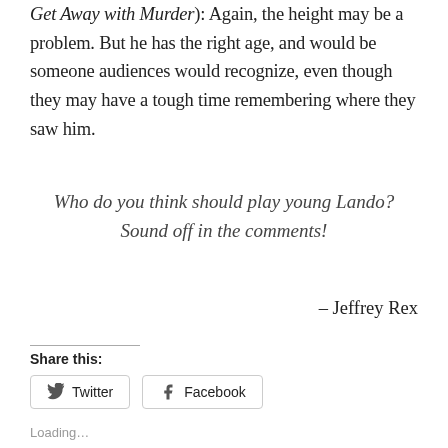Get Away with Murder): Again, the height may be a problem. But he has the right age, and would be someone audiences would recognize, even though they may have a tough time remembering where they saw him.
Who do you think should play young Lando? Sound off in the comments!
– Jeffrey Rex
Share this:
Twitter
Facebook
Loading…